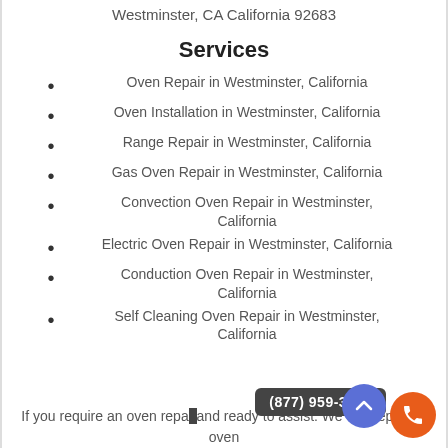Westminster, CA California 92683
Services
Oven Repair in Westminster, California
Oven Installation in Westminster, California
Range Repair in Westminster, California
Gas Oven Repair in Westminster, California
Convection Oven Repair in Westminster, California
Electric Oven Repair in Westminster, California
Conduction Oven Repair in Westminster, California
Self Cleaning Oven Repair in Westminster, California
If you require an oven repair … and ready to assist. We can repair all oven